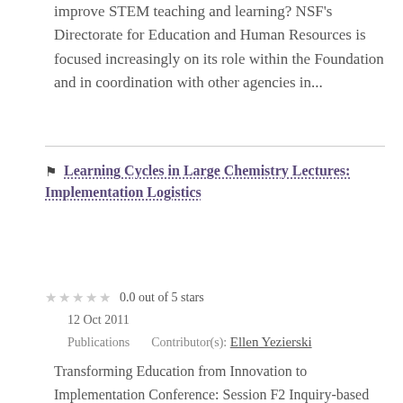improve STEM teaching and learning? NSF's Directorate for Education and Human Resources is focused increasingly on its role within the Foundation and in coordination with other agencies in...
Learning Cycles in Large Chemistry Lectures: Implementation Logistics
0.0 out of 5 stars
12 Oct 2011
Publications    Contributor(s): Ellen Yezierski
Transforming Education from Innovation to Implementation Conference: Session F2 Inquiry-based instruction employing the learning cycle is theoretically grounded in constructivism (1) and